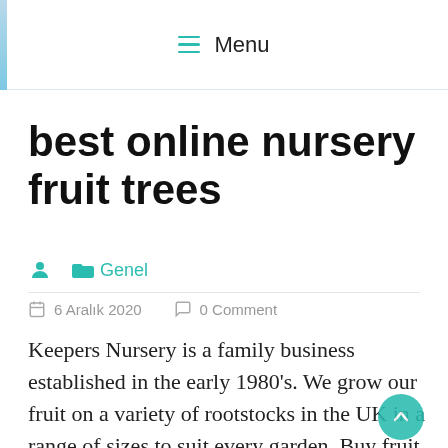≡ Menu
best online nursery fruit trees
Genel
6 Aralık 2020   0 Comment
Keepers Nursery is a family business established in the early 1980's. We grow our fruit on a variety of rootstocks in the UK in a range of sizes to suit every garden. Buy fruit tree is after all a sound financial investment that will reward for many